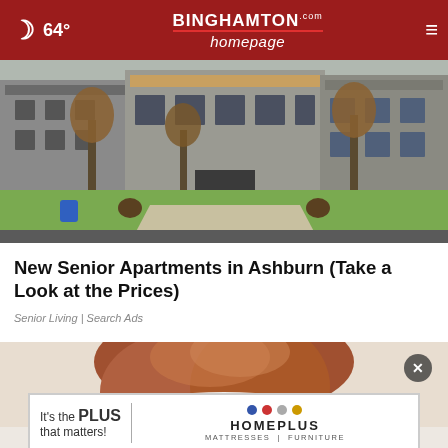64° — Binghamton Homepage
[Figure (photo): Exterior photo of modern townhouse/apartment buildings with trees and green lawn]
New Senior Apartments in Ashburn (Take a Look at the Prices)
Senior Living | Search Ads
[Figure (photo): Close-up photo of a woman with reddish-brown hair seen from behind/side]
[Figure (other): HomePlus Mattresses Furniture advertisement banner: 'It's the PLUS that matters!' with colored dots and HOMEPLUS branding]